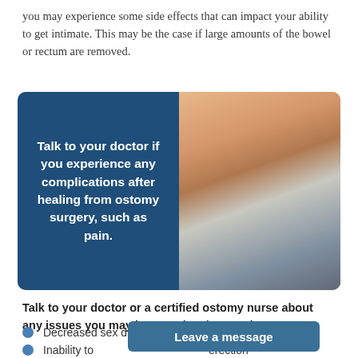you may experience some side effects that can impact your ability to get intimate. This may be the case if large amounts of the bowel or rectum are removed.
[Figure (photo): Split image: left half is a dark blue panel with white bold text reading 'Talk to your doctor if you experience any complications after healing from ostomy surgery, such as pain.' Right half is a photo of a doctor in a white coat writing on a clipboard, with a patient visible in the background.]
Talk to your doctor or a certified ostomy nurse about any issues you may be experiencing, such as:
Decreased sex drive
Inability to [achieve/maintain an] erection